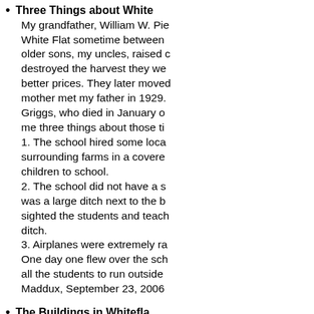Three Things about White Flat: My grandfather, William W. Pie... White Flat sometime between... older sons, my uncles, raised c... destroyed the harvest they we... better prices. They later moved... mother met my father in 1929. Griggs, who died in January o... me three things about those ti... 1. The school hired some loca... surrounding farms in a covere... children to school. 2. The school did not have a s... was a large ditch next to the b... sighted the students and teach... ditch. 3. Airplanes were extremely ra... One day one flew over the sch... all the students to run outside... Maddux, September 23, 2006
The Buildings in Whitefla... I grew up in Whiteflat and the v... parsonage for the Methodist C...